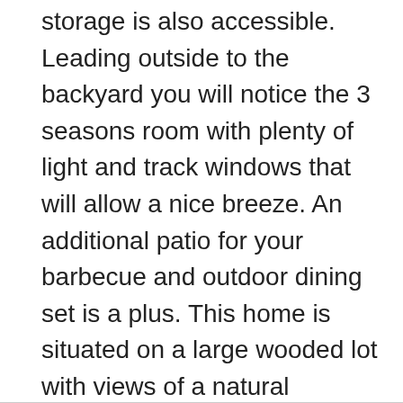storage is also accessible. Leading outside to the backyard you will notice the 3 seasons room with plenty of light and track windows that will allow a nice breeze. An additional patio for your barbecue and outdoor dining set is a plus. This home is situated on a large wooded lot with views of a natural preserve. The landscaping is lush and the yard has a sprinkler system. Additional features include chair rail, wainscoting, cathedral ceilings, ceiling fans and more. Windsor Plantation is a natural gas community and close to major roads, shopping, restaurants and the beach. Square footage is approximate and not guaranteed. Buyer is responsible for verification.